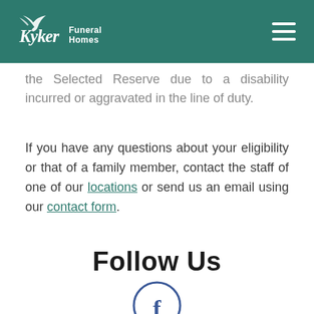Kyker Funeral Homes
the Selected Reserve due to a disability incurred or aggravated in the line of duty.
If you have any questions about your eligibility or that of a family member, contact the staff of one of our locations or send us an email using our contact form.
Follow Us
[Figure (logo): Facebook circular icon with letter f]